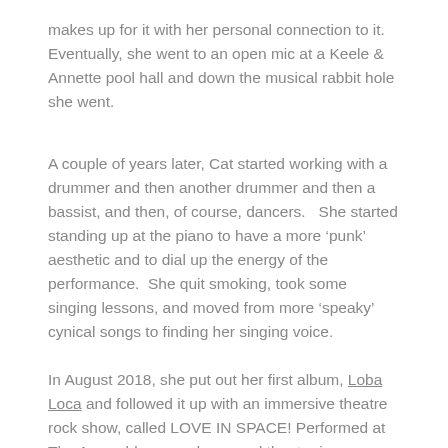makes up for it with her personal connection to it. Eventually, she went to an open mic at a Keele & Annette pool hall and down the musical rabbit hole she went.
A couple of years later, Cat started working with a drummer and then another drummer and then a bassist, and then, of course, dancers.   She started standing up at the piano to have a more 'punk' aesthetic and to dial up the energy of the performance.  She quit smoking, took some singing lessons, and moved from more 'speaky' cynical songs to finding her singing voice.
In August 2018, she put out her first album, Loba Loca and followed it up with an immersive theatre rock show, called LOVE IN SPACE! Performed at The Assembly, an underground theatre in Parkdale.